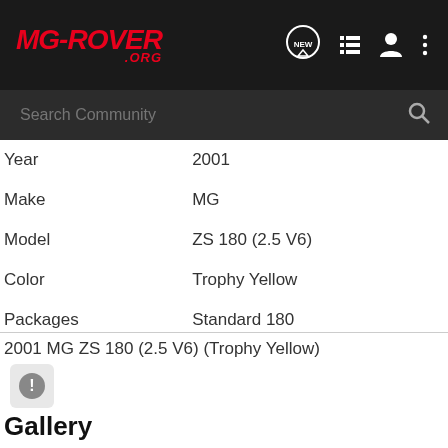MG-ROVER .ORG — header navigation bar with logo, NEW, list, person, and menu icons, plus Search Community search bar
| Field | Value |
| --- | --- |
| Year | 2001 |
| Make | MG |
| Model | ZS 180 (2.5 V6) |
| Color | Trophy Yellow |
| Packages | Standard 180 |
2001 MG ZS 180 (2.5 V6) (Trophy Yellow)
Gallery